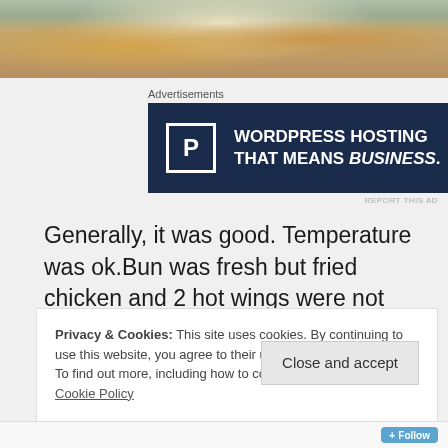[Figure (photo): Food photo showing sandwiches/fried chicken items on a tray with wrapping paper, partially cropped at top of page]
Advertisements
[Figure (other): Advertisement banner for WordPress hosting: 'P' logo, text 'WORDPRESS HOSTING THAT MEANS BUSINESS.' with an OPEN sign photo on the right]
REPORT THIS AD
Generally, it was good. Temperature was ok.Bun was fresh but fried chicken and 2 hot wings were not crunchy enough for my taste. Seasoning was also ok. I expected a bigger kick in spice department.
Privacy & Cookies: This site uses cookies. By continuing to use this website, you agree to their use.
To find out more, including how to control cookies, see here: Cookie Policy
Close and accept